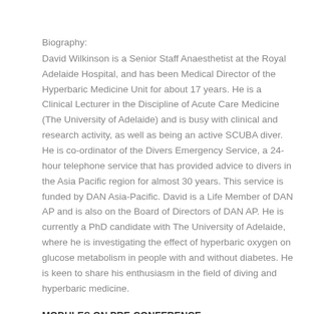Biography:
David Wilkinson is a Senior Staff Anaesthetist at the Royal Adelaide Hospital, and has been Medical Director of the Hyperbaric Medicine Unit for about 17 years. He is a Clinical Lecturer in the Discipline of Acute Care Medicine (The University of Adelaide) and is busy with clinical and research activity, as well as being an active SCUBA diver. He is co-ordinator of the Divers Emergency Service, a 24-hour telephone service that has provided advice to divers in the Asia Pacific region for almost 30 years. This service is funded by DAN Asia-Pacific. David is a Life Member of DAN AP and is also on the Board of Directors of DAN AP. He is currently a PhD candidate with The University of Adelaide, where he is investigating the effect of hyperbaric oxygen on glucose metabolism in people with and without diabetes. He is keen to share his enthusiasm in the field of diving and hyperbaric medicine.
MODULES ON PRE-CONFERENCE
(July 28 – 30, 2015)